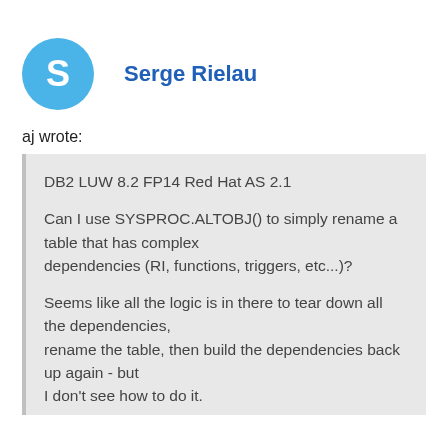Serge Rielau
aj wrote:
DB2 LUW 8.2 FP14 Red Hat AS 2.1

Can I use SYSPROC.ALTOBJ() to simply rename a table that has complex
dependencies (RI, functions, triggers, etc...)?

Seems like all the logic is in there to tear down all the dependencies,
rename the table, then build the dependencies back up again - but
I don't see how to do it.